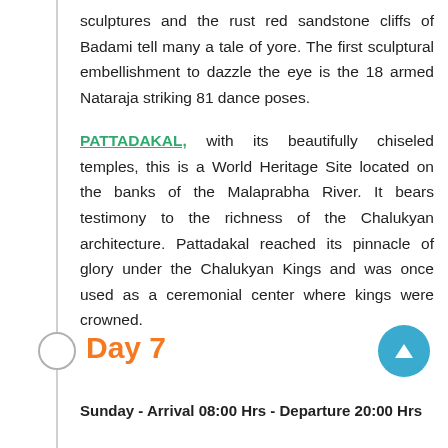sculptures and the rust red sandstone cliffs of Badami tell many a tale of yore. The first sculptural embellishment to dazzle the eye is the 18 armed Nataraja striking 81 dance poses.
PATTADAKAL, with its beautifully chiseled temples, this is a World Heritage Site located on the banks of the Malaprabha River. It bears testimony to the richness of the Chalukyan architecture. Pattadakal reached its pinnacle of glory under the Chalukyan Kings and was once used as a ceremonial center where kings were crowned.
Day 7
Sunday - Arrival 08:00 Hrs - Departure 20:00 Hrs